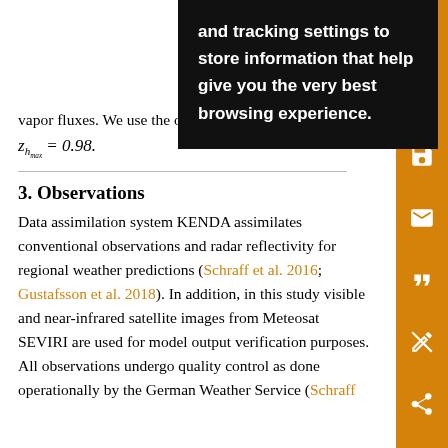To avoid convergence issues near the top of the domain, the roughness lengths are set to zero and a blending height is introduced to ensure smooth transition of heat and vapor fluxes. We use the operational value of
3. Observations
Data assimilation system KENDA assimilates conventional observations and radar reflectivity for regional weather predictions (Schraff et al. 2016; Gustafsson et al. 2018). In addition, in this study visible and near-infrared satellite images from Meteosat SEVIRI are used for model output verification purposes. All observations undergo quality control as done operationally by the German Weather Service (Schraff
[Figure (other): Cookie/tracking settings tooltip overlay with text: 'and tracking settings to store information that help give you the very best browsing experience.']
[Figure (other): Orange sidebar with save, email, quote, annotation, and share icons]